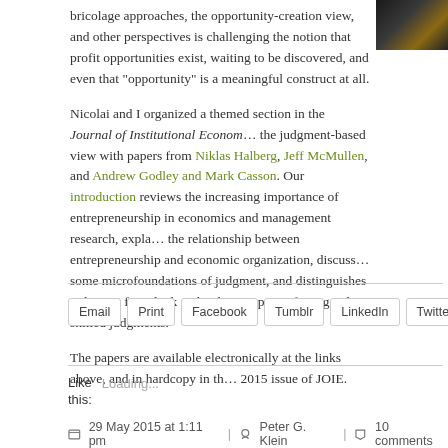bricolage approaches, the opportunity-creation view, and other perspectives is challenging the notion that profit opportunities exist, waiting to be discovered, and even that "opportunity" is a meaningful construct at all.
Nicolai and I organized a themed section in the Journal of Institutional Economics on the judgment-based view with papers from Niklas Halberg, Jeff McMullen, and Andrew Godley and Mark Casson. Our introduction reviews the increasing importance of entrepreneurship in economics and management research, explains the relationship between entrepreneurship and economic organization, discusses some microfoundations of judgment, and distinguishes judgment from luck and judgment per se from good or skilled judgments.
The papers are available electronically at the links above, and in hardcopy in the 2015 issue of JOIE.
Email | Print | Facebook | Tumblr | LinkedIn | Twitter | Reddit
Like this: Loading...
29 May 2015 at 1:11 pm | Peter G. Klein | 10 comments